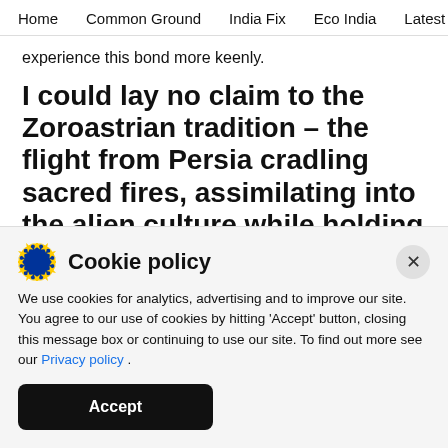Home   Common Ground   India Fix   Eco India   Latest   Th
experience this bond more keenly.
I could lay no claim to the Zoroastrian tradition – the flight from Persia cradling sacred fires, assimilating into the alien culture while holding on with (foolish) doggedness to the old country
Cookie policy
We use cookies for analytics, advertising and to improve our site. You agree to our use of cookies by hitting 'Accept' button, closing this message box or continuing to use our site. To find out more see our Privacy policy .
Accept